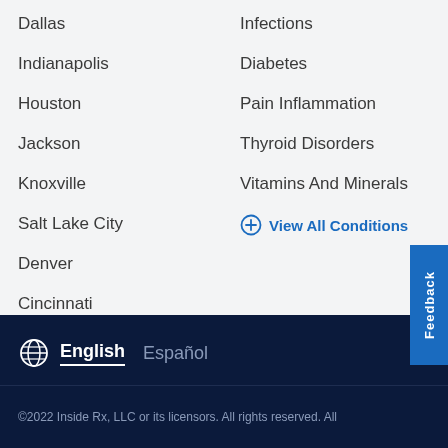Dallas
Indianapolis
Houston
Jackson
Knoxville
Salt Lake City
Denver
Cincinnati
View All Metros
Infections
Diabetes
Pain Inflammation
Thyroid Disorders
Vitamins And Minerals
View All Conditions
English   Español   Back to Top   ©2022 Inside Rx, LLC or its licensors. All rights reserved. All